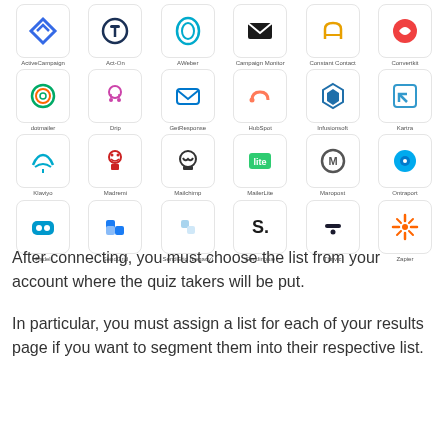[Figure (infographic): Grid of email marketing and automation service logos arranged in 4 rows of 6: Row 1: ActiveCampaign, Act-On, AWeber, Campaign Monitor, Constant Contact, Convertkit. Row 2: dotmailer, Drip, GetResponse, HubSpot, Infusionsoft, Kartra. Row 3: Klaviyo, Madremi, Mailchimp, MailerLite, Maropost, Ontraport. Row 4: Padel, SendGrid, SendGrid (Legacy), Sendinblue, Thrivic, Zapier.]
After connecting, you must choose the list from your account where the quiz takers will be put.
In particular, you must assign a list for each of your results page if you want to segment them into their respective list.